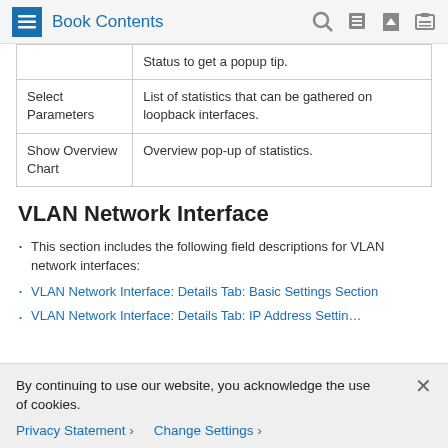Book Contents
|  | Status to get a popup tip. |
| Select Parameters | List of statistics that can be gathered on loopback interfaces. |
| Show Overview Chart | Overview pop-up of statistics. |
VLAN Network Interface
This section includes the following field descriptions for VLAN network interfaces:
VLAN Network Interface: Details Tab: Basic Settings Section
By continuing to use our website, you acknowledge the use of cookies.
Privacy Statement  Change Settings